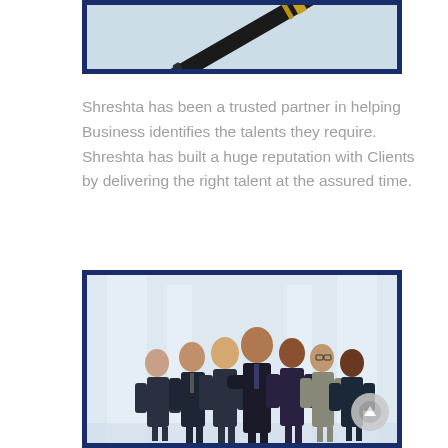[Figure (photo): Partial top image showing a pen or writing instrument against a light blue background, framed with a dark navy border.]
Shreshta has been a trusted partner in helping Business identifies the talents they require. Shreshta has built a huge reputation with Clients by delivering the right talent at the assured time.
[Figure (photo): Group photo of seven business professionals in formal attire standing together in a bright office setting, framed with a dark navy border.]